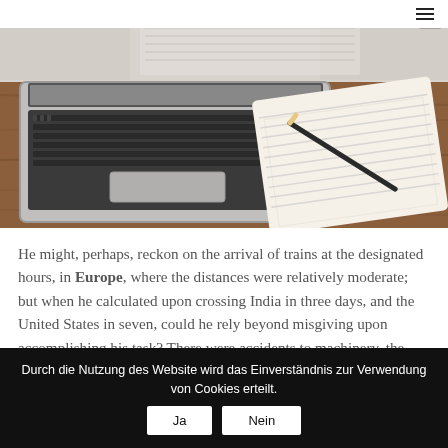[Figure (photo): Overhead photo of a laptop keyboard and an open notebook with a pencil on a wooden table surface. Faint geometric overlay graphics visible in the upper portion.]
He might, perhaps, reckon on the arrival of trains at the designated hours, in Europe, where the distances were relatively moderate; but when he calculated upon crossing India in three days, and the United States in seven, could he rely beyond misgiving upon accomplishing his task? There were accidents to machinery, the liability of trains to
Durch die Nutzung des Website wird das Einverständnis zur Verwendung von Cookies erteilt. Ja Nein